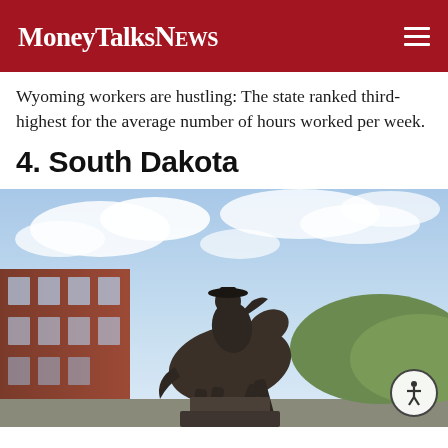MoneyTalksNews
Wyoming workers are hustling: The state ranked third-highest for the average number of hours worked per week.
4. South Dakota
[Figure (photo): Bronze statue of a cowboy on horseback against a cloudy sky, with a red brick building visible in the background. South Dakota landmark sculpture.]